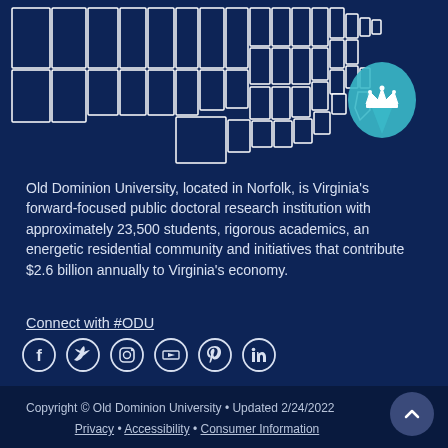[Figure (map): US map with dark navy states outlined in white, with a teal location pin showing a crown over Virginia/Norfolk area]
Old Dominion University, located in Norfolk, is Virginia's forward-focused public doctoral research institution with approximately 23,500 students, rigorous academics, an energetic residential community and initiatives that contribute $2.6 billion annually to Virginia's economy.
Connect with #ODU
[Figure (infographic): Social media icons: Facebook, Twitter, Instagram, YouTube, Pinterest, LinkedIn]
Copyright © Old Dominion University • Updated 2/24/2022
Privacy • Accessibility • Consumer Information